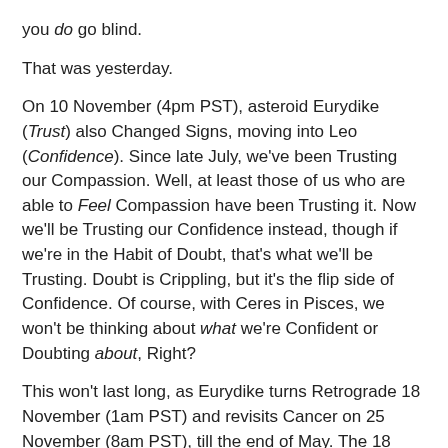you do go blind.
That was yesterday.
On 10 November (4pm PST), asteroid Eurydike (Trust) also Changed Signs, moving into Leo (Confidence). Since late July, we've been Trusting our Compassion. Well, at least those of us who are able to Feel Compassion have been Trusting it. Now we'll be Trusting our Confidence instead, though if we're in the Habit of Doubt, that's what we'll be Trusting. Doubt is Crippling, but it's the flip side of Confidence. Of course, with Ceres in Pisces, we won't be thinking about what we're Confident or Doubting about, Right?
This won't last long, as Eurydike turns Retrograde 18 November (1am PST) and revisits Cancer on 25 November (8am PST), till the end of May. The 18 November Eurydike Station is our next Station, so we can count on wrestling with our Doubt till then. But let's talk about that in the next post.